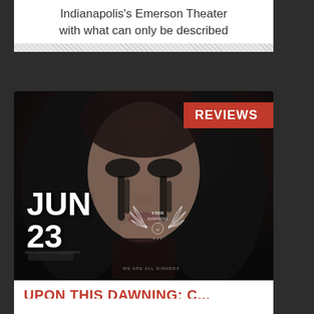Indianapolis's Emerson Theater with what can only be described
[Figure (photo): Dark horror/metal themed movie poster image showing a woman with dark dramatic eye makeup and long dark hair, with a red 'REVIEWS' badge in upper right, date 'JUN 23' in lower left, and an award laurel badge in lower center]
UPON THIS DAWNING: C...
BY: HANS JAEGER
The dark styling of Upon this Dawning are back on display in their latest release City of Sin. Bringing a fresh spin on heavier